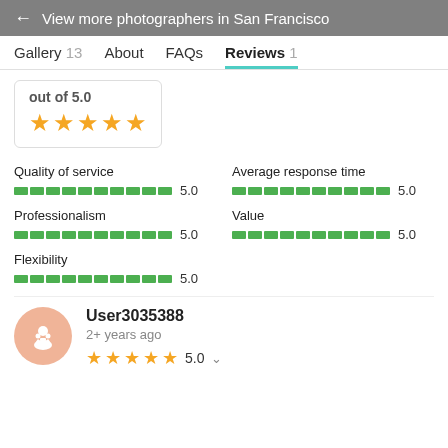← View more photographers in San Francisco
Gallery 13   About   FAQs   Reviews 1
out of 5.0
Quality of service 5.0
Average response time 5.0
Professionalism 5.0
Value 5.0
Flexibility 5.0
User3035388
2+ years ago
5.0